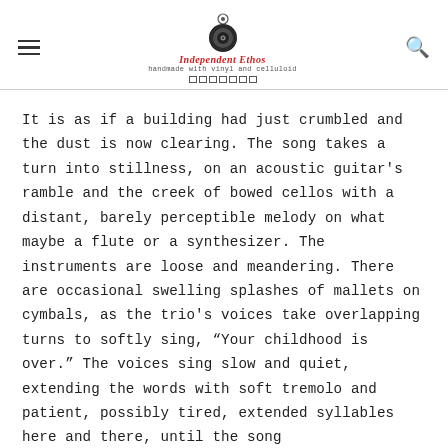Independent Ethos — handmade with vinyl and celluloid
It is as if a building had just crumbled and the dust is now clearing. The song takes a turn into stillness, on an acoustic guitar's ramble and the creek of bowed cellos with a distant, barely perceptible melody on what maybe a flute or a synthesizer. The instruments are loose and meandering. There are occasional swelling splashes of mallets on cymbals, as the trio's voices take overlapping turns to softly sing, “Your childhood is over.” The voices sing slow and quiet, extending the words with soft tremolo and patient, possibly tired, extended syllables here and there, until the song